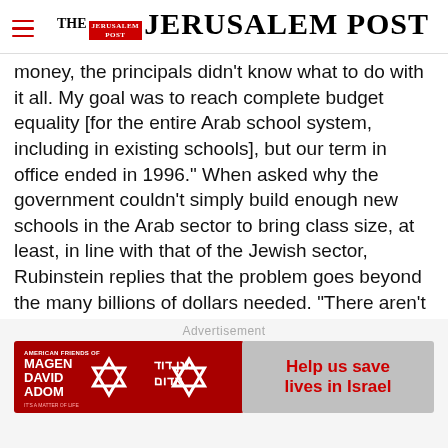THE JERUSALEM POST
money, the principals didn't know what to do with it all. My goal was to reach complete budget equality [for the entire Arab school system, including in existing schools], but our term in office ended in 1996." When asked why the government couldn't simply build enough new schools in the Arab sector to bring class size, at least, in line with that of the Jewish sector, Rubinstein replies that the problem goes beyond the many billions of dollars needed. "There aren't
Advertisement
[Figure (illustration): Magen David Adom advertisement banner with red background, Star of David logo, Hebrew text, and button reading 'Help us save lives in Israel']